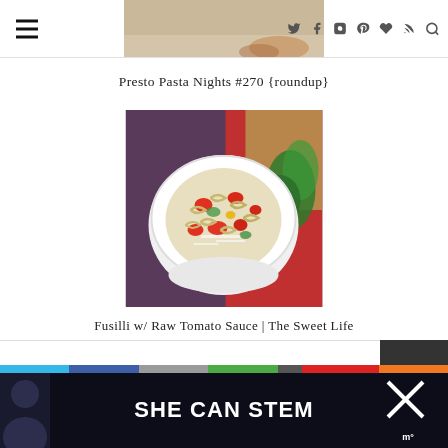[Figure (screenshot): Website navigation bar with hamburger menu icon on left, partial header image in center, social media icons (Twitter, Facebook, Instagram, Pinterest, heart, RSS) and search icon on right]
Presto Pasta Nights #270 {roundup}
[Figure (photo): Bowl of fusilli pasta with raw tomato sauce, herbs visible in background]
Fusilli w/ Raw Tomato Sauce | The Sweet Life
[Figure (screenshot): Bottom banner advertisement reading SHE CAN STEM with colorful bar stripe divider and dark background]